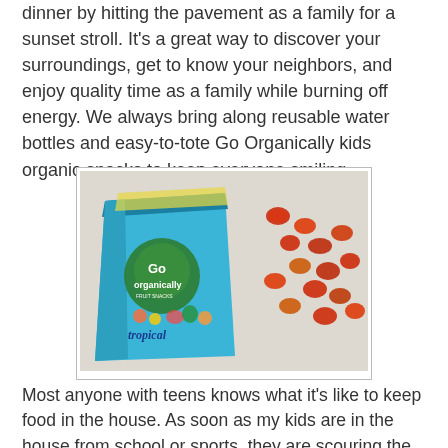dinner by hitting the pavement as a family for a sunset stroll. It's a great way to discover your surroundings, get to know your neighbors, and enjoy quality time as a family while burning off energy. We always bring along reusable water bottles and easy-to-tote Go Organically kids organic snacks to keep everyone smiling.
[Figure (photo): Photo of a Go Organically Fruit Snacks tropical flavored package (blue bag) next to a pile of red and orange gummy fruit snacks scattered on a light fabric surface.]
Most anyone with teens knows what it's like to keep food in the house.  As soon as my kids are in the house from school or sports, they are scouring the pantry for a snack.  And then they're back five minutes later for another snack.
I'll be honest with you and admit that I keep junk food in my